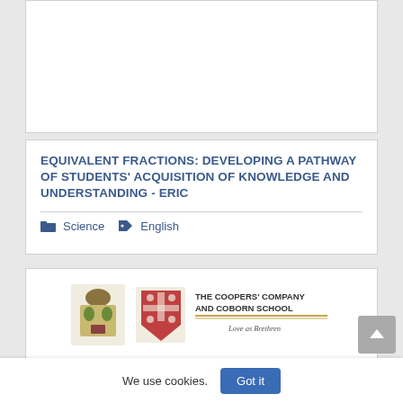EQUIVALENT FRACTIONS: DEVELOPING A PATHWAY OF STUDENTS' ACQUISITION OF KNOWLEDGE AND UNDERSTANDING - ERIC
Science   English
[Figure (logo): The Coopers' Company and Coborn School logo with coat of arms and shield emblem. Text reads: THE COOPERS' COMPANY AND COBORN SCHOOL, Love as Brethren]
We use cookies.
Got it